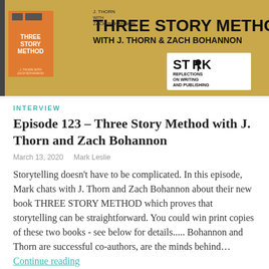[Figure (illustration): Banner image for 'Three Story Method with J. Thorn and Zach Bohannon' podcast. Gold background with typewriter graphics, book cover on left showing 'THREE STORY METHOD', large bold text reading 'THREE STORY METHOD WITH J. THORN & ZACH BOHANNON', and 'STARK REFLECTIONS ON WRITING AND PUBLISHING' logo on the right.]
INTERVIEW
Episode 123 – Three Story Method with J. Thorn and Zach Bohannon
March 13, 2020   Mark Leslie
Storytelling doesn't have to be complicated. In this episode, Mark chats with J. Thorn and Zach Bohannon about their new book THREE STORY METHOD which proves that storytelling can be straightforward. You could win print copies of these two books - see below for details..... Bohannon and Thorn are successful co-authors, are the minds behind… Continue reading